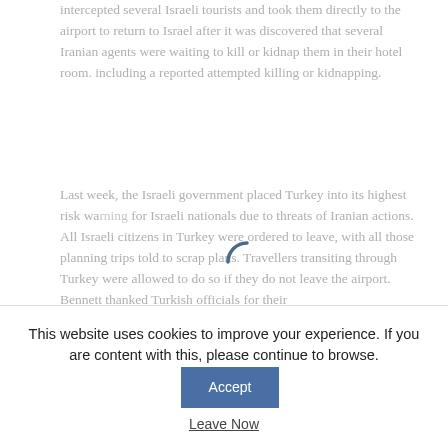intercepted several Israeli tourists and took them directly to the airport to return to Israel after it was discovered that several Iranian agents were waiting to kill or kidnap them in their hotel room. including a reported attempted killing or kidnapping.
Last week, the Israeli government placed Turkey into its highest risk warning for Israeli nationals due to threats of Iranian actions. All Israeli citizens in Turkey were ordered to leave, with all those planning trips told to scrap plans. Travellers transiting through Turkey were allowed to do so if they do not leave the airport. Bennett thanked Turkish officials for their prompt and praised...
This website uses cookies to improve your experience. If you are content with this, please continue to browse.
Accept
Leave Now